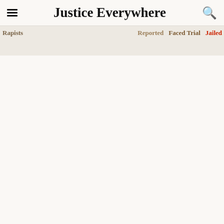Justice Everywhere
[Figure (infographic): Infographic showing rapists as person icons in a horizontal row, with category labels: Rapists, Reported, Faced Trial, Jailed. Icons colored tan/light brown for most, darker brown for smaller proportions, red for jailed.]